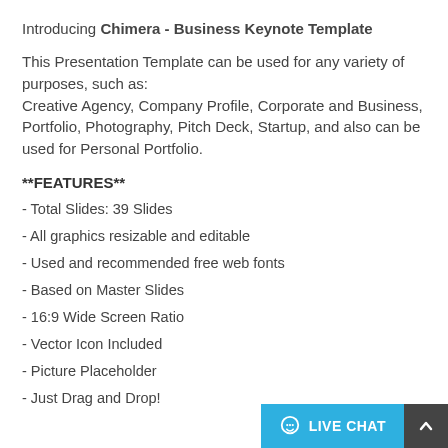Introducing **Chimera - Business Keynote Template**
This Presentation Template can be used for any variety of purposes, such as:
Creative Agency, Company Profile, Corporate and Business, Portfolio, Photography, Pitch Deck, Startup, and also can be used for Personal Portfolio.
**FEATURES**
- Total Slides: 39 Slides
- All graphics resizable and editable
- Used and recommended free web fonts
- Based on Master Slides
- 16:9 Wide Screen Ratio
- Vector Icon Included
- Picture Placeholder
- Just Drag and Drop!